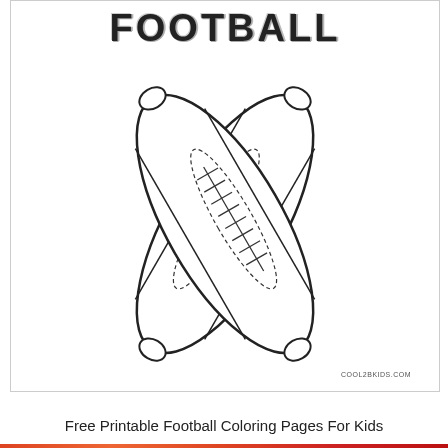[Figure (illustration): Coloring page illustration showing two American footballs leaning against each other in a V-shape, with detailed lacing, seam lines, and panel stripes. The word FOOTBALL appears at the top in a sketchy/chalk-style font. The Cool2bKids.com watermark appears in the bottom right corner.]
Free Printable Football Coloring Pages For Kids